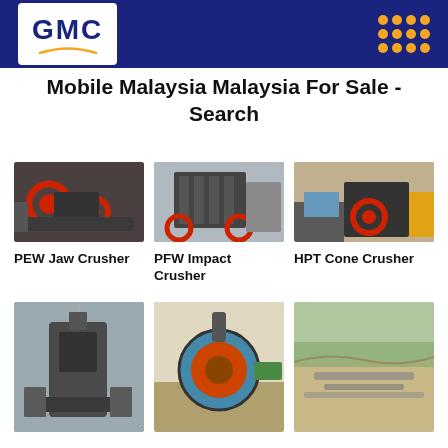GMC
Mobile Malaysia Malaysia For Sale - Search
[Figure (photo): PEW Jaw Crusher machine in industrial setting]
[Figure (photo): PFW Impact Crusher machine in factory]
[Figure (photo): HPT Cone Crusher machine with yellow railing]
PEW Jaw Crusher
PFW Impact Crusher
HPT Cone Crusher
[Figure (photo): Sand making machine in industrial setting]
[Figure (photo): Wheel sand washing machine in blue]
[Figure (photo): Quarry or mining site aerial view]